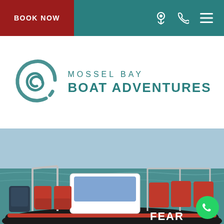BOOK NOW
[Figure (logo): Mossel Bay Boat Adventures logo with teal wave/swirl icon and teal uppercase text reading MOSSEL BAY BOAT ADVENTURES]
[Figure (photo): Photo of an inflatable RIB boat with red seats and chrome railings, white console, black outboard motor, docked on teal water. The word FEAR is partially visible in red on the hull. A green WhatsApp button is in the bottom right corner.]